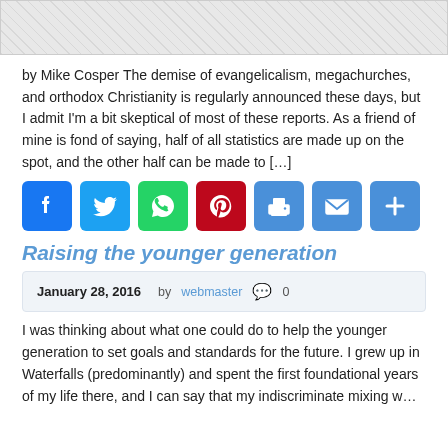[Figure (photo): Placeholder image with hatched grey background]
by Mike Cosper The demise of evangelicalism, megachurches, and orthodox Christianity is regularly announced these days, but I admit I'm a bit skeptical of most of these reports. As a friend of mine is fond of saying, half of all statistics are made up on the spot, and the other half can be made to […]
[Figure (infographic): Social share buttons: Facebook, Twitter, WhatsApp, Pinterest, Print, Email, More]
Raising the younger generation
January 28, 2016   by webmaster   0
I was thinking about what one could do to help the younger generation to set goals and standards for the future. I grew up in Waterfalls (predominantly) and spent the first foundational years of my life there, and I can say that my indiscriminate mixing w…